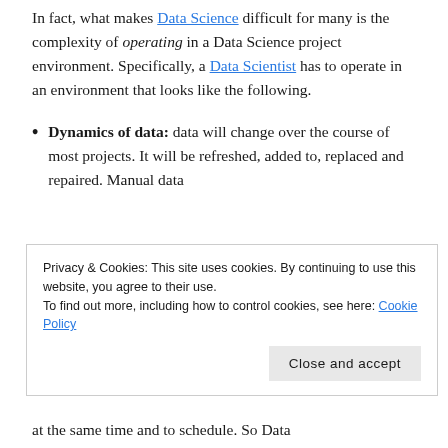In fact, what makes Data Science difficult for many is the complexity of operating in a Data Science project environment. Specifically, a Data Scientist has to operate in an environment that looks like the following.
Dynamics of data: data will change over the course of most projects. It will be refreshed, added to, replaced and repaired. Manual data
Privacy & Cookies: This site uses cookies. By continuing to use this website, you agree to their use. To find out more, including how to control cookies, see here: Cookie Policy
at the same time and to schedule. So Data